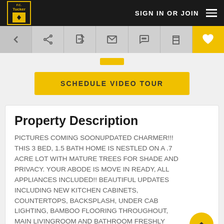F.C. Tucker - SIGN IN OR JOIN
[Figure (screenshot): Icon toolbar with back arrow, share, edit, email, chat, print, and heart/favorite buttons]
SCHEDULE VIDEO TOUR
Property Description
PICTURES COMING SOONUPDATED CHARMER!!! THIS 3 BED, 1.5 BATH HOME IS NESTLED ON A .7 ACRE LOT WITH MATURE TREES FOR SHADE AND PRIVACY. YOUR ABODE IS MOVE IN READY, ALL APPLIANCES INCLUDED!! BEAUTIFUL UPDATES INCLUDING NEW KITCHEN CABINETS, COUNTERTOPS, BACKSPLASH, UNDER CAB LIGHTING, BAMBOO FLOORING THROUGHOUT, MAIN LIVINGROOM AND BATHROOM FRESHLY PAINTED,& AN